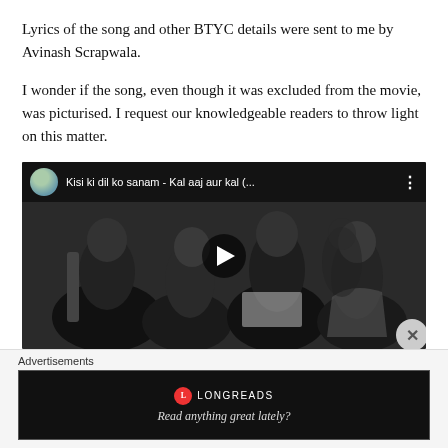Lyrics of the song and other BTYC details were sent to me by Avinash Scrapwala.
I wonder if the song, even though it was excluded from the movie, was picturised. I request our knowledgeable readers to throw light on this matter.
[Figure (screenshot): YouTube video thumbnail showing black and white photo of musicians/singers. Title reads: Kisi ki dil ko sanam - Kal aaj aur kal (... with a play button in the center and avatar icon in top left corner.]
Advertisements
[Figure (screenshot): Longreads advertisement banner with black background, Longreads logo and tagline 'Read anything great lately?']